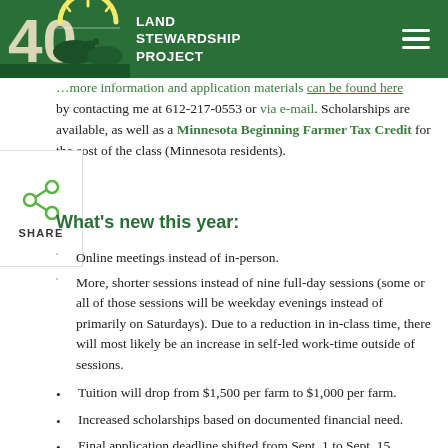Land Stewardship Project
…more information and application materials can be found here by contacting me at 612-217-0553 or via e-mail. Scholarships are available, as well as a Minnesota Beginning Farmer Tax Credit for the cost of the class (Minnesota residents).
What's new this year:
Online meetings instead of in-person.
More, shorter sessions instead of nine full-day sessions (some or all of those sessions will be weekday evenings instead of primarily on Saturdays). Due to a reduction in in-class time, there will most likely be an increase in self-led work-time outside of sessions.
Tuition will drop from $1,500 per farm to $1,000 per farm.
Increased scholarships based on documented financial need.
Final application deadline shifted from Sept. 1 to Sept. 15.
Start date shifted from late October to late November 2020.